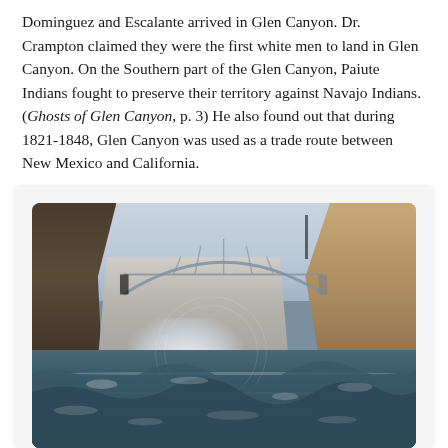Dominguez and Escalante arrived in Glen Canyon. Dr. Crampton claimed they were the first white men to land in Glen Canyon. On the Southern part of the Glen Canyon, Paiute Indians fought to preserve their territory against Navajo Indians. (Ghosts of Glen Canyon, p. 3) He also found out that during 1821-1848, Glen Canyon was used as a trade route between New Mexico and California.
[Figure (photo): Photograph of Glen Canyon Dam viewed from the river below, showing the curved concrete dam face with water flowing and churning at its base, steep canyon walls on either side (dark rock on the left, tan/orange sandstone on the right), and a large arch bridge visible above the dam in the background. The river in the foreground shows turbulent whitewater and choppy waves. A circular watermark/seal is faintly visible on the image.]